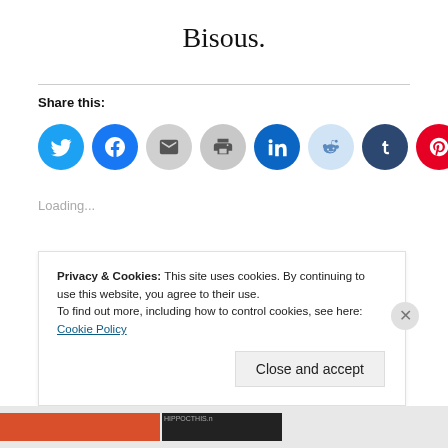Bisous.
Share this:
[Figure (infographic): Row of social share icon buttons: Twitter (blue), Facebook (blue), Email (grey), Print (grey), LinkedIn (teal), Reddit (light blue), Tumblr (dark navy), Pinterest (red), Pocket (red)]
Loading...
Leave a comment
Privacy & Cookies: This site uses cookies. By continuing to use this website, you agree to their use.
To find out more, including how to control cookies, see here: Cookie Policy
Close and accept